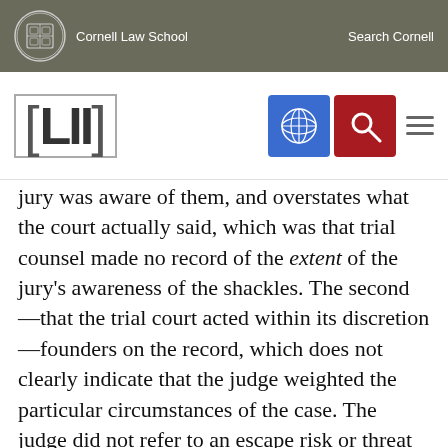Cornell Law School | Search Cornell
[Figure (logo): Cornell Law School shield logo and LII navigation bar with blue grid icon, red search icon, and hamburger menu]
jury was aware of them, and overstates what the court actually said, which was that trial counsel made no record of the extent of the jury's awareness of the shackles. The second—that the trial court acted within its discretion—founders on the record, which does not clearly indicate that the judge weighted the particular circumstances of the case. The judge did not refer to an escape risk or threat to courtroom security or explain why, if shackles were necessary, he did not provide nonvisible ones as was apparently done during the guilt phase of this case. The third—that Deck suffered no prejudice—fails to take account of Holbrook's statement that shackling is "inherently prejudicial," 475 U.S., at 568, a view rooted in this